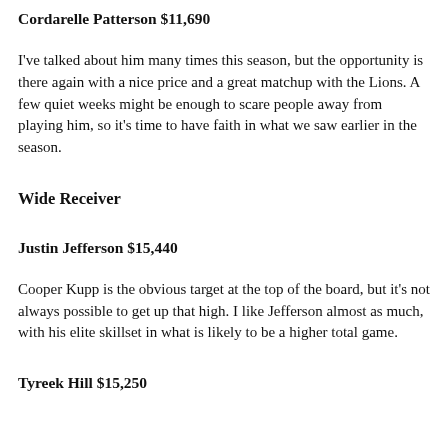Cordarelle Patterson $11,690
I've talked about him many times this season, but the opportunity is there again with a nice price and a great matchup with the Lions. A few quiet weeks might be enough to scare people away from playing him, so it's time to have faith in what we saw earlier in the season.
Wide Receiver
Justin Jefferson $15,440
Cooper Kupp is the obvious target at the top of the board, but it's not always possible to get up that high. I like Jefferson almost as much, with his elite skillset in what is likely to be a higher total game.
Tyreek Hill $15,250